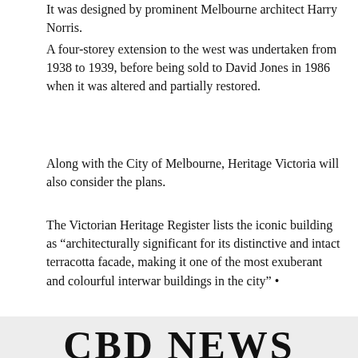It was designed by prominent Melbourne architect Harry Norris.
A four-storey extension to the west was undertaken from 1938 to 1939, before being sold to David Jones in 1986 when it was altered and partially restored.
Along with the City of Melbourne, Heritage Victoria will also consider the plans.
The Victorian Heritage Register lists the iconic building as “architecturally significant for its distinctive and intact terracotta facade, making it one of the most exuberant and colourful interwar buildings in the city” •
[Figure (illustration): Advertisement banner for Queen Victoria Market with pink background, logo, text 'QUEEN VICTORIA MARKET make it a market day' in white and yellow, and a photo of a smiling woman with market stalls in background. Text on right reads 'OPEN THU, FRI, SAT & SUN']
CBD NEWS